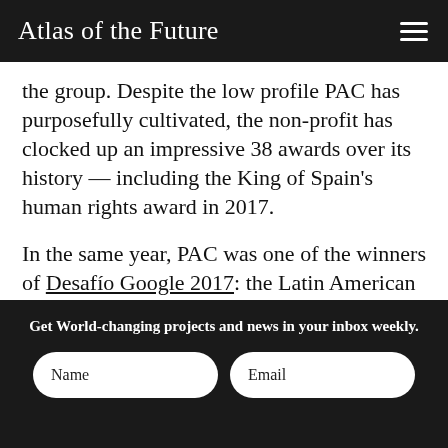Atlas of the Future
the group. Despite the low profile PAC has purposefully cultivated, the non-profit has clocked up an impressive 38 awards over its history — including the King of Spain's human rights award in 2017.
In the same year, PAC was one of the winners of Desafío Google 2017: the Latin American chapter of Google's Impact Challenge, awarding both money and support to non-profit innovators across
Get World-changing projects and news in your inbox weekly.